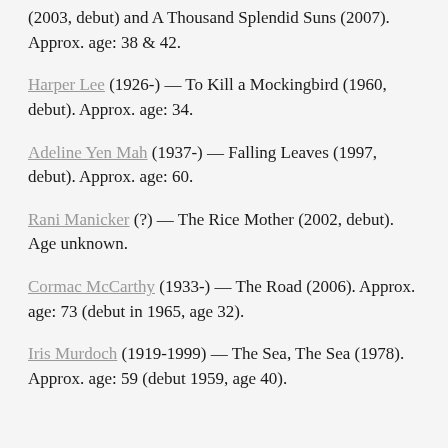(2003, debut) and A Thousand Splendid Suns (2007). Approx. age: 38 & 42.
Harper Lee (1926-) — To Kill a Mockingbird (1960, debut). Approx. age: 34.
Adeline Yen Mah (1937-) — Falling Leaves (1997, debut). Approx. age: 60.
Rani Manicker (?) — The Rice Mother (2002, debut). Age unknown.
Cormac McCarthy (1933-) — The Road (2006). Approx. age: 73 (debut in 1965, age 32).
Iris Murdoch (1919-1999) — The Sea, The Sea (1978). Approx. age: 59 (debut 1959, age 40).